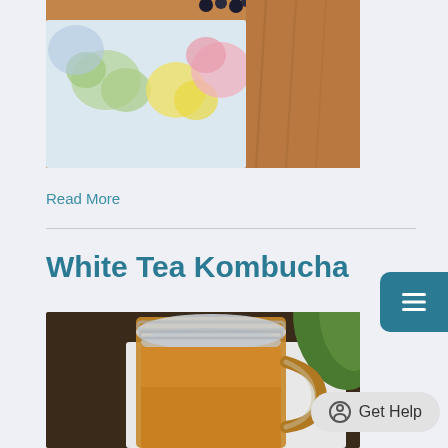[Figure (photo): Partial view of a colorful floral patterned textile or placemat with flowers in green, yellow, pink colors on a wooden surface background, with what appears to be dark berries visible at the top]
Read More
White Tea Kombucha
[Figure (photo): A glass mason jar mug filled with amber/golden colored kombucha tea, with a green leaf visible in the background, placed on a light colored surface]